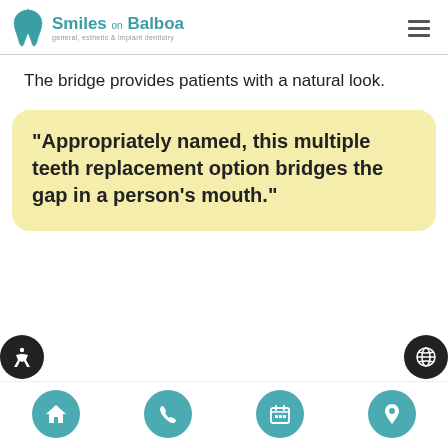[Figure (logo): Smiles on Balboa dental practice logo with tooth icon and teal text reading 'Smiles on Balboa general, esthetic & implant dentistry']
The bridge provides patients with a natural look.
“Appropriately named, this multiple teeth replacement option bridges the gap in a person’s mouth.”
[Figure (infographic): Bottom navigation bar with four teal circular icon buttons: home, phone, calendar, location pin]